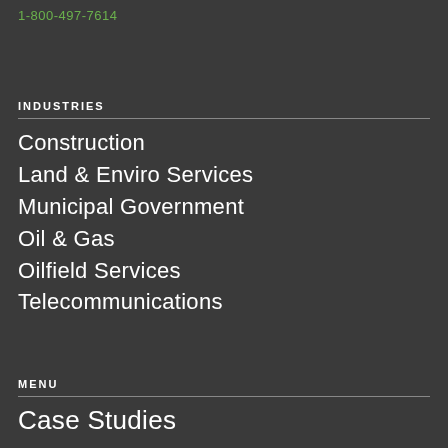1-800-497-7614
INDUSTRIES
Construction
Land & Enviro Services
Municipal Government
Oil & Gas
Oilfield Services
Telecommunications
MENU
Case Studies